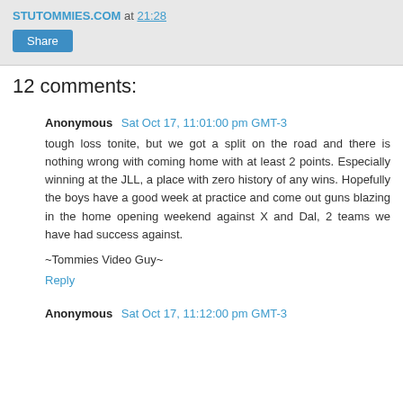STUTOMMIES.COM at 21:28
Share
12 comments:
Anonymous  Sat Oct 17, 11:01:00 pm GMT-3
tough loss tonite, but we got a split on the road and there is nothing wrong with coming home with at least 2 points. Especially winning at the JLL, a place with zero history of any wins. Hopefully the boys have a good week at practice and come out guns blazing in the home opening weekend against X and Dal, 2 teams we have had success against.

~Tommies Video Guy~
Reply
Anonymous  Sat Oct 17, 11:12:00 pm GMT-3